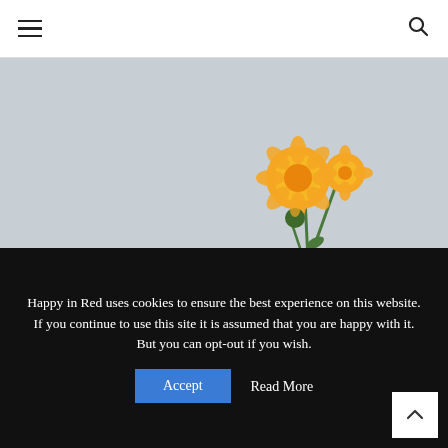Navigation bar with hamburger menu and search icon
[Figure (photo): A hand wearing a teal/turquoise chunky knit fingerless glove, holding two orange marigold/daisy flowers against a light grey/white background with a wooden surface visible at the bottom.]
Happy in Red uses cookies to ensure the best experience on this website. If you continue to use this site it is assumed that you are happy with it. But you can opt-out if you wish.
Accept
Read More